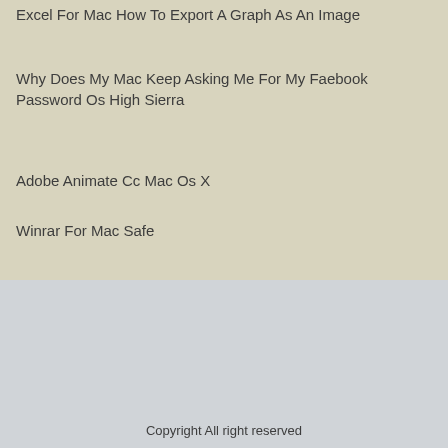Excel For Mac How To Export A Graph As An Image
Why Does My Mac Keep Asking Me For My Faebook Password Os High Sierra
Adobe Animate Cc Mac Os X
Winrar For Mac Safe
Copyright All right reserved